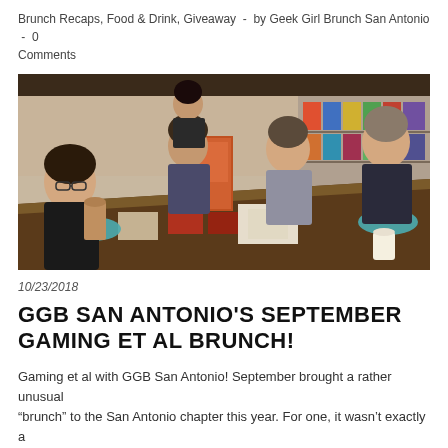Brunch Recaps, Food & Drink, Giveaway  -  by Geek Girl Brunch San Antonio  -  0 Comments
[Figure (photo): Group of women sitting around a large wooden table playing a board game at a game cafe, with board game boxes visible on shelves in the background.]
10/23/2018
GGB SAN ANTONIO'S SEPTEMBER GAMING ET AL BRUNCH!
Gaming et al with GGB San Antonio! September brought a rather unusual "brunch" to the San Antonio chapter this year. For one, it wasn't exactly a